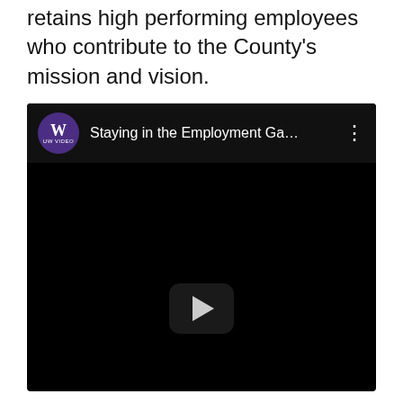retains high performing employees who contribute to the County's mission and vision.
[Figure (screenshot): Embedded YouTube-style video player with black background. Header shows UW Video logo (purple circle with W) and title 'Staying in the Employment Ga…' with a three-dot menu icon. A play button is centered in the lower portion of the black video area.]